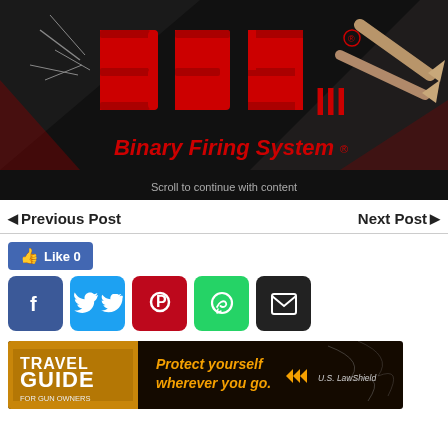[Figure (logo): BFS III Binary Firing System advertisement banner with red BFS logo on dark background with bullet imagery and text 'Scroll to continue with content']
◄ Previous Post
Next Post ►
Like 0
[Figure (infographic): Social sharing buttons: Facebook, Twitter, Pinterest, WhatsApp, Email]
[Figure (infographic): US LawShield Travel Guide for Gun Owners advertisement banner: 'Protect yourself wherever you go.']